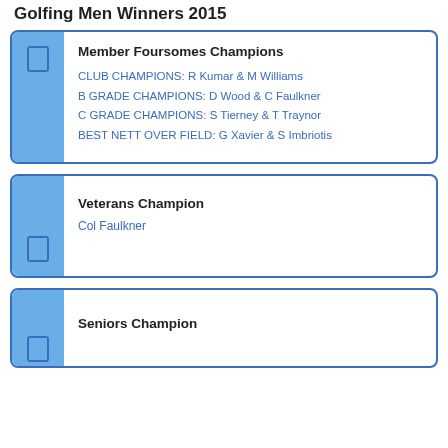Golfing Men Winners 2015
Member Foursomes Champions
CLUB CHAMPIONS: R Kumar & M Williams
B GRADE CHAMPIONS: D Wood & C Faulkner
C GRADE CHAMPIONS: S Tierney & T Traynor
BEST NETT OVER FIELD: G Xavier & S Imbriotis
Veterans Champion
Col Faulkner
Seniors Champion